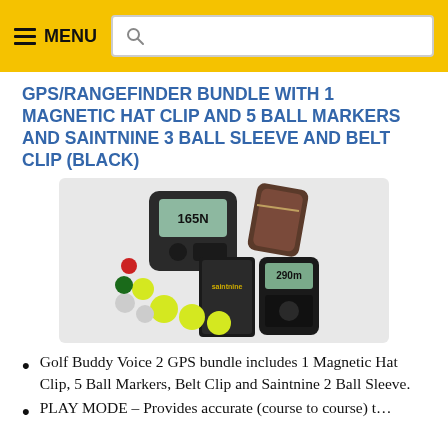MENU [search box]
GPS/RANGEFINDER BUNDLE WITH 1 MAGNETIC HAT CLIP AND 5 BALL MARKERS AND SAINTNINE 3 BALL SLEEVE AND BELT CLIP (BLACK)
[Figure (photo): Product photo showing GPS device, rangefinder, ball sleeve box, ball markers, and belt clip accessories]
Golf Buddy Voice 2 GPS bundle includes 1 Magnetic Hat Clip, 5 Ball Markers, Belt Clip and Saintnine 2 Ball Sleeve.
PLAY MODE – Provides accurate (course to course) t…